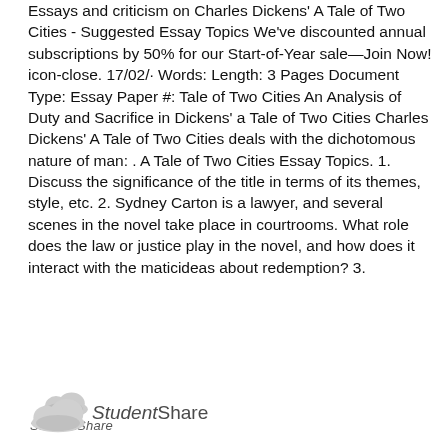Essays and criticism on Charles Dickens' A Tale of Two Cities - Suggested Essay Topics We've discounted annual subscriptions by 50% for our Start-of-Year sale—Join Now! icon-close. 17/02/· Words: Length: 3 Pages Document Type: Essay Paper #: Tale of Two Cities An Analysis of Duty and Sacrifice in Dickens' a Tale of Two Cities Charles Dickens' A Tale of Two Cities deals with the dichotomous nature of man: . A Tale of Two Cities Essay Topics. 1. Discuss the significance of the title in terms of its themes, style, etc. 2. Sydney Carton is a lawyer, and several scenes in the novel take place in courtrooms. What role does the law or justice play in the novel, and how does it interact with the maticideas about redemption? 3.
[Figure (screenshot): A preview thumbnail of a document page with small text lines and handwritten annotations, from StudentShare]